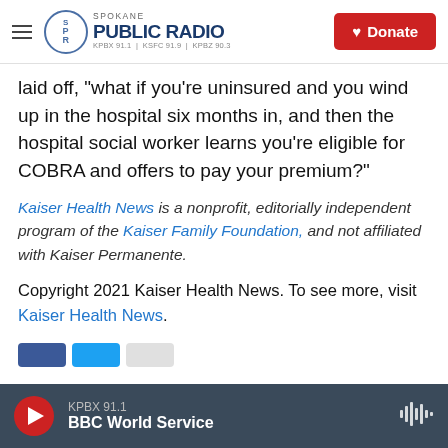Spokane Public Radio — KPBX 91.1 | KSFC 91.9 | KPBZ 90.3 | Donate
laid off, "what if you're uninsured and you wind up in the hospital six months in, and then the hospital social worker learns you're eligible for COBRA and offers to pay your premium?"
Kaiser Health News is a nonprofit, editorially independent program of the Kaiser Family Foundation, and not affiliated with Kaiser Permanente.
Copyright 2021 Kaiser Health News. To see more, visit Kaiser Health News.
KPBX 91.1 | BBC World Service